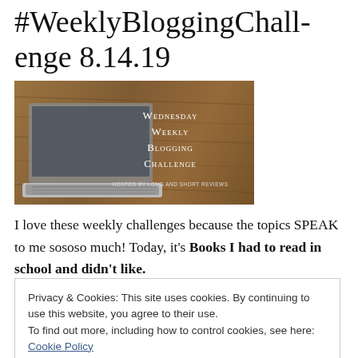#WeeklyBloggingChallenge 8.14.19
[Figure (illustration): Banner image for Wednesday Weekly Blogging Challenge, hosted by Long and Short Reviews. Shows a laptop on a wooden desk background with white serif text overlay.]
I love these weekly challenges because the topics SPEAK to me sososo much! Today, it’s Books I had to read in school and didn’t like.
Kids, there were hundreds! Hundreds, I tell you!
Privacy & Cookies: This site uses cookies. By continuing to use this website, you agree to their use.
To find out more, including how to control cookies, see here: Cookie Policy
Close and accept
struggled to read it and when we had to write a